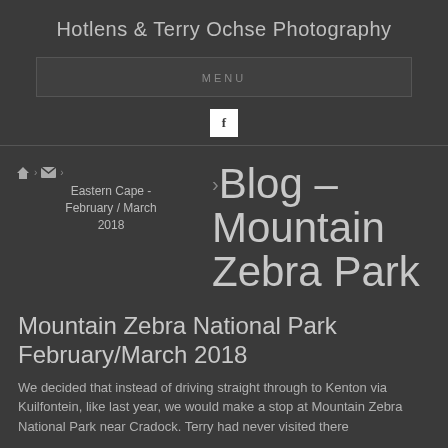Hotlens & Terry Ochse Photography
MENU
[Figure (logo): Facebook icon button - white 'f' on white square background]
Blog - Mountain Zebra Park
Eastern Cape - February / March 2018
Mountain Zebra National Park February/March 2018
We decided that instead of driving straight through to Kenton via Kuilfontein, like last year, we would make a stop at Mountain Zebra National Park near Cradock. Terry had never visited there